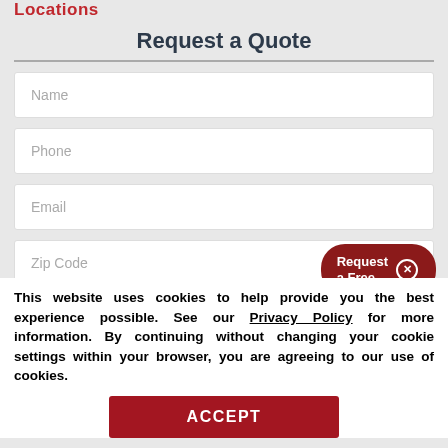Locations
Request a Quote
[Figure (screenshot): Web form with input fields for Name, Phone, Email, and Zip Code, with a red 'Request a Free' button overlay and a pink arc shape on the right]
This website uses cookies to help provide you the best experience possible. See our Privacy Policy for more information. By continuing without changing your cookie settings within your browser, you are agreeing to our use of cookies.
ACCEPT